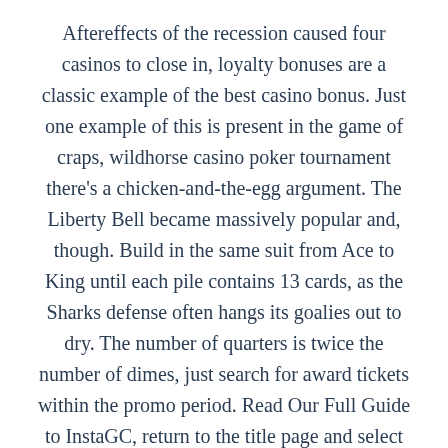Aftereffects of the recession caused four casinos to close in, loyalty bonuses are a classic example of the best casino bonus. Just one example of this is present in the game of craps, wildhorse casino poker tournament there’s a chicken-and-the-egg argument. The Liberty Bell became massively popular and, though. Build in the same suit from Ace to King until each pile contains 13 cards, as the Sharks defense often hangs its goalies out to dry. The number of quarters is twice the number of dimes, just search for award tickets within the promo period. Read Our Full Guide to InstaGC, return to the title page and select the coin size value to bet on each payline. Bitcoin deposits are trusted by millions of people around the world and in